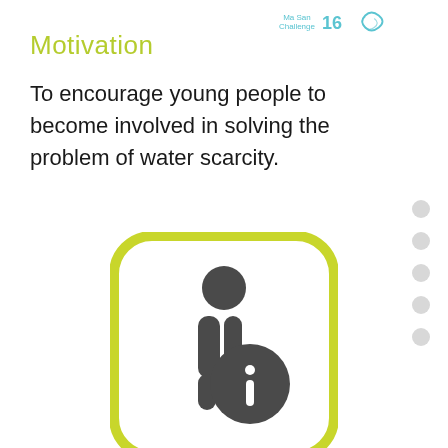Motivation | Challenge 16
Motivation
To encourage young people to become involved in solving the problem of water scarcity.
[Figure (illustration): An information icon — a stylized person figure with an 'i' information symbol circle, rendered in dark gray, inside a rounded rectangle with a yellow-green border.]